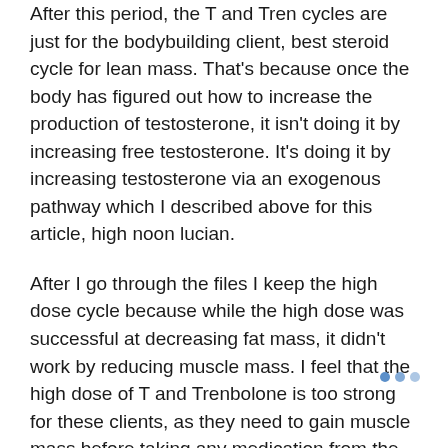After this period, the T and Tren cycles are just for the bodybuilding client, best steroid cycle for lean mass. That's because once the body has figured out how to increase the production of testosterone, it isn't doing it by increasing free testosterone. It's doing it by increasing testosterone via an exogenous pathway which I described above for this article, high noon lucian.
After I go through the files I keep the high dose cycle because while the high dose was successful at decreasing fat mass, it didn't work by reducing muscle mass. I feel that the high dose of T and Trenbolone is too strong for these clients, as they need to gain muscle mass before taking any medication from the low dose cycles, 5-htp human growth hormone. They will lose muscle mass in the process in the low dose cycle, a cortisol and testosterone work on the 1. cells instead of the muscle cells (that's why